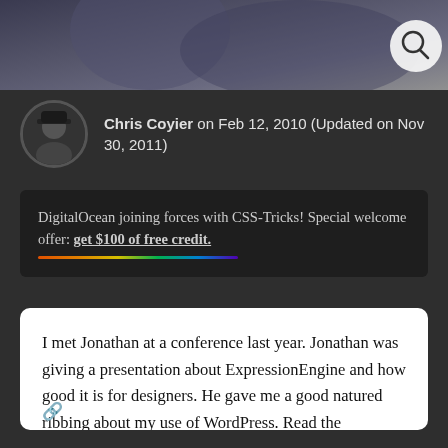[Figure (photo): Top banner photo — dark blurred background image with a circular search icon (magnifying glass) in the top right corner]
Chris Coyier on Feb 12, 2010 (Updated on Nov 30, 2011)
DigitalOcean joining forces with CSS-Tricks! Special welcome offer: get $100 of free credit.
I met Jonathan at a conference last year. Jonathan was giving a presentation about ExpressionEngine and how good it is for designers. He gave me a good natured ribbing about my use of WordPress. Read the interview below where I ask him about that, his work, his side projects, and more.